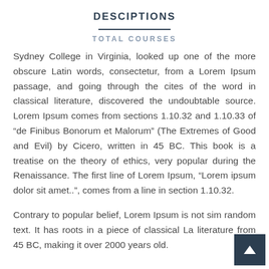DESCIPTIONS
TOTAL COURSES
Sydney College in Virginia, looked up one of the more obscure Latin words, consectetur, from a Lorem Ipsum passage, and going through the cites of the word in classical literature, discovered the undoubtable source. Lorem Ipsum comes from sections 1.10.32 and 1.10.33 of “de Finibus Bonorum et Malorum” (The Extremes of Good and Evil) by Cicero, written in 45 BC. This book is a treatise on the theory of ethics, very popular during the Renaissance. The first line of Lorem Ipsum, “Lorem ipsum dolor sit amet..”, comes from a line in section 1.10.32.
Contrary to popular belief, Lorem Ipsum is not simply random text. It has roots in a piece of classical Latin literature from 45 BC, making it over 2000 years old.